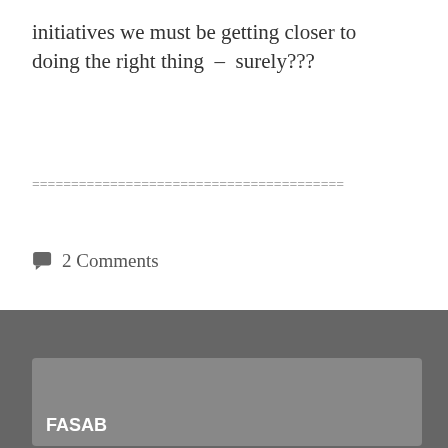initiatives we must be getting closer to doing the right thing – surely???
========================================
💬 2 Comments
[Figure (logo): FASAB logo box on dark grey background footer]